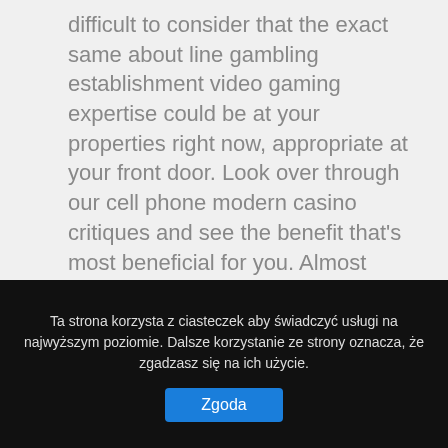difficult to consider that the exact same about line gambling establishment video gaming expertise could be at your properties right now, appropriate at your front door. Look over through our cell phone modern casino critiques and see the benefit that's most beneficial for you. Almost almost all of the casino games of the site are playable about mobile phone. Cell phone casinos may end up being accessed via any smartphone nearly.
Bez kategorii
[Figure (infographic): Social sharing icons row: Twitter (y), Facebook (f), Google+ (G+), Pinterest (pin), Email (envelope), More (...)]
Ta strona korzysta z ciasteczek aby świadczyć usługi na najwyższym poziomie. Dalsze korzystanie ze strony oznacza, że zgadzasz się na ich użycie.
Zgoda